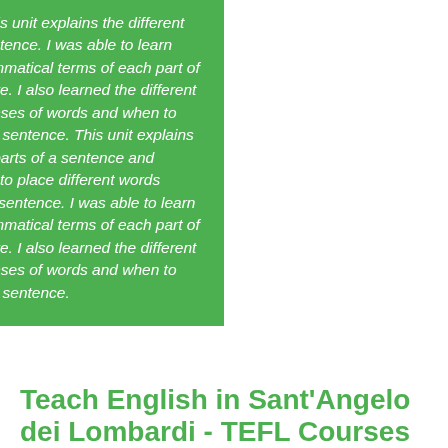a student. This unit explains the different parts of a sentence. I was able to learn what the grammatical terms of each part of a sentence are. I also learned the different forms and tenses of words and when to use each in a sentence. This unit explains the different parts of a sentence and explains how to place different words correctly in a sentence. I was able to learn what the grammatical terms of each part of a sentence are. I also learned the different forms and tenses of words and when to use each in a sentence.
Teach English in Sant'Angelo dei Lombardi - TEFL Courses